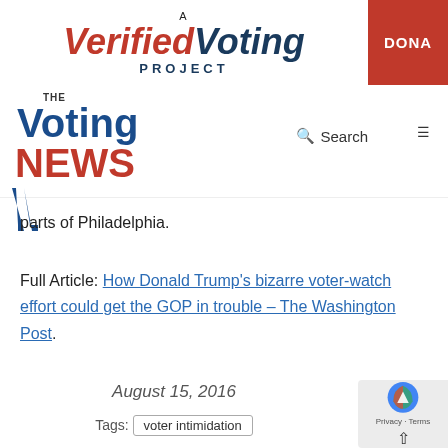A Verified Voting Project
[Figure (logo): The Voting News logo with search and hamburger menu]
parts of Philadelphia.
Full Article: How Donald Trump’s bizarre voter-watch effort could get the GOP in trouble – The Washington Post.
August 15, 2016
Tags: voter intimidation